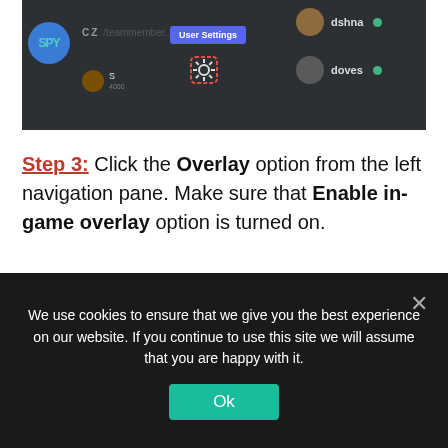[Figure (screenshot): Discord app screenshot showing User Settings button highlighted in blue and a gear/settings icon highlighted with a red dashed border. Right side shows a user list with 'dshna' and 'doves' entries with green status indicators.]
Step 3: Click the Overlay option from the left navigation pane. Make sure that Enable in-game overlay option is turned on.
We use cookies to ensure that we give you the best experience on our website. If you continue to use this site we will assume that you are happy with it.